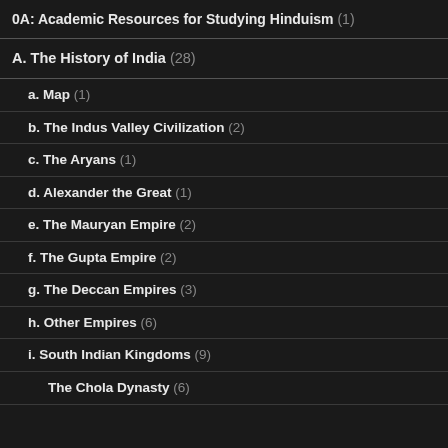0A: Academic Resources for Studying Hinduism (1)
A. The History of India (28)
a. Map (1)
b. The Indus Valley Civilization (2)
c. The Aryans (1)
d. Alexander the Great (1)
e. The Mauryan Empire (2)
f. The Gupta Empire (2)
g. The Deccan Empires (3)
h. Other Empires (6)
i. South Indian Kingdoms (9)
The Chola Dynasty (6)